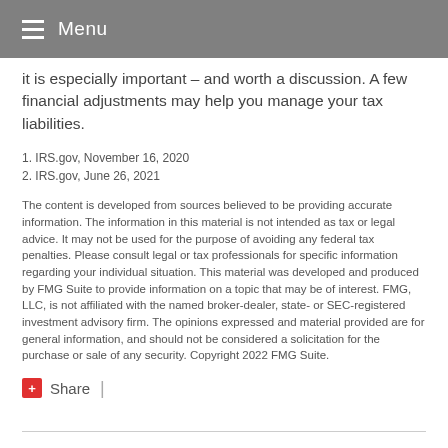Menu
it is especially important – and worth a discussion. A few financial adjustments may help you manage your tax liabilities.
1. IRS.gov, November 16, 2020
2. IRS.gov, June 26, 2021
The content is developed from sources believed to be providing accurate information. The information in this material is not intended as tax or legal advice. It may not be used for the purpose of avoiding any federal tax penalties. Please consult legal or tax professionals for specific information regarding your individual situation. This material was developed and produced by FMG Suite to provide information on a topic that may be of interest. FMG, LLC, is not affiliated with the named broker-dealer, state- or SEC-registered investment advisory firm. The opinions expressed and material provided are for general information, and should not be considered a solicitation for the purchase or sale of any security. Copyright 2022 FMG Suite.
Share